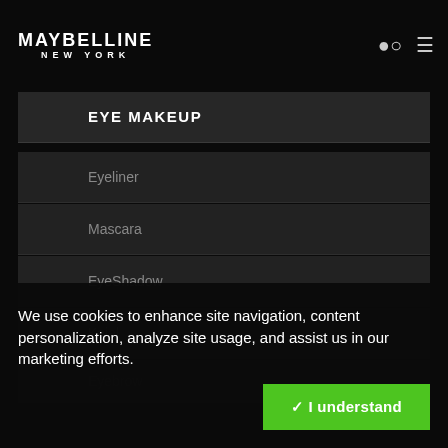MAYBELLINE NEW YORK
EYE MAKEUP
Eyeliner
Mascara
EyeShadow
Kajal
Eyebrow
Foundation
We use cookies to enhance site navigation, content personalization, analyze site usage, and assist us in our marketing efforts.
✓ I understand